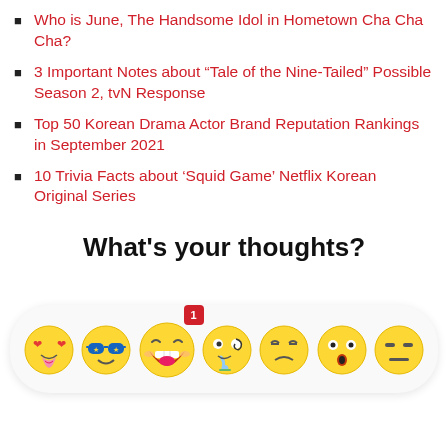Who is June, The Handsome Idol in Hometown Cha Cha Cha?
3 Important Notes about “Tale of the Nine-Tailed” Possible Season 2, tvN Response
Top 50 Korean Drama Actor Brand Reputation Rankings in September 2021
10 Trivia Facts about ‘Squid Game’ Netflix Korean Original Series
What's your thoughts?
[Figure (other): A reaction emoji bar with 7 emoji faces: love/heart-eyes with tongue, cool sunglasses, big laughing grin with notification badge showing '1', drooling/hungry face, sad/weary face, shocked/scared face, and grumpy/unamused face. The third emoji has a red notification badge with the number 1.]